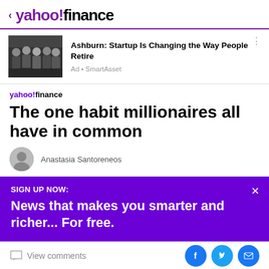< yahoo!finance
[Figure (photo): Group photo of startup team members in dark t-shirts]
Ashburn: Startup Is Changing the Way People Retire
Ad • SmartAsset
yahoo!finance
The one habit millionaires all have in common
Anastasia Santoreneos
SIGN UP NOW:
News that makes you smarter and richer... For free.
View comments